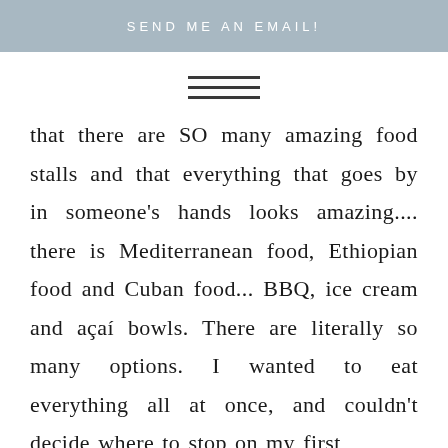SEND ME AN EMAIL!
[Figure (other): Hamburger menu icon — three horizontal lines stacked]
that there are SO many amazing food stalls and that everything that goes by in someone's hands looks amazing.... there is Mediterranean food, Ethiopian food and Cuban food... BBQ, ice cream and açaí bowls. There are literally so many options. I wanted to eat everything all at once, and couldn't decide where to stop on my first